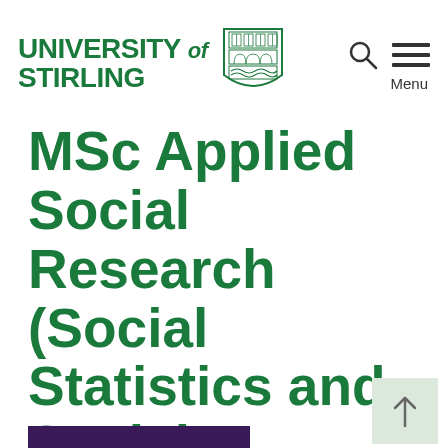[Figure (logo): University of Stirling logo with shield crest and navigation icons (search and menu)]
MSc Applied Social Research (Social Statistics and Social Research)